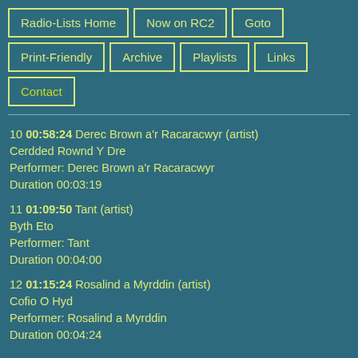Radio-Lists Home
Now on RC2
Goto
Print-Friendly
Archive
Playlists
Links
Contact
10 00:58:24 Derec Brown a'r Racaracwyr (artist)
Cerdded Rownd Y Dre
Performer: Derec Brown a'r Racaracwyr
Duration 00:03:19
11 01:09:50 Tant (artist)
Byth Eto
Performer: Tant
Duration 00:04:00
12 01:15:24 Rosalind a Myrddin (artist)
Cofio O Hyd
Performer: Rosalind a Myrddin
Duration 00:04:24